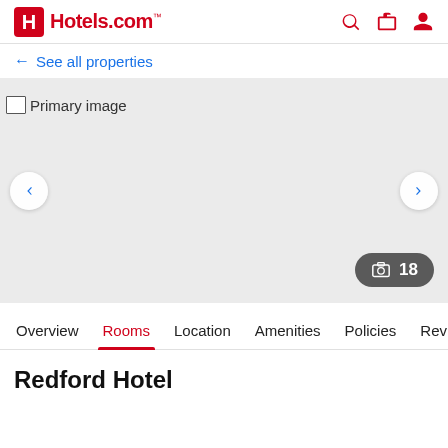Hotels.com
← See all properties
[Figure (photo): Primary image placeholder for hotel photo gallery, with left and right navigation arrows and a photo count badge showing 18 photos]
Overview  Rooms  Location  Amenities  Policies  Reviews
Redford Hotel